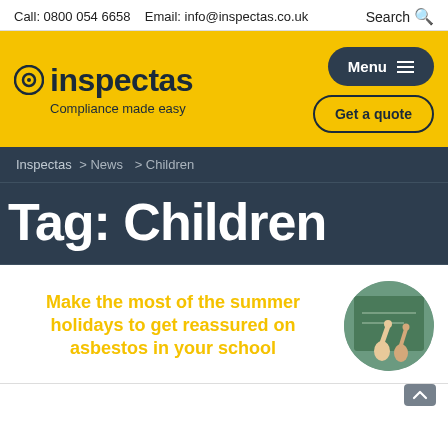Call: 0800 054 6658   Email: info@inspectas.co.uk
Search
[Figure (logo): Inspectas logo: circular icon with 'inspectas' text and tagline 'Compliance made easy' on yellow background]
Menu
Get a quote
Inspectas > News > Children
Tag: Children
Make the most of the summer holidays to get reassured on asbestos in your school
[Figure (photo): Circular photo of children raising hands in a classroom with a green chalkboard in the background]